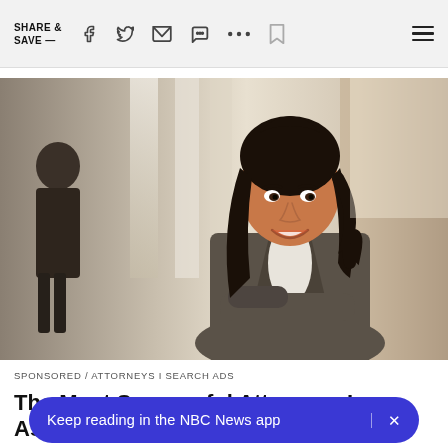SHARE & SAVE —
[Figure (photo): Professional woman in a gray business suit with arms crossed, smiling, standing in a bright office with columns in the background. A silhouetted figure is visible on the left.]
SPONSORED / ATTORNEYS I SEARCH ADS
The Most Successful Attorneys In Ashburn (See The
Keep reading in the NBC News app  ×